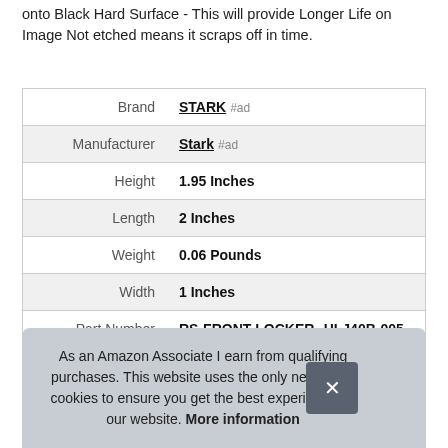onto Black Hard Surface - This will provide Longer Life on Image Not etched means it scraps off in time.
|  |  |
| --- | --- |
| Brand | STARK #ad |
| Manufacturer | Stark #ad |
| Height | 1.95 Inches |
| Length | 2 Inches |
| Weight | 0.06 Pounds |
| Width | 1 Inches |
| Part Number | RS-FRONT-LOCKER--HLJ40B-005 |
As an Amazon Associate I earn from qualifying purchases. This website uses the only necessary cookies to ensure you get the best experience on our website. More information